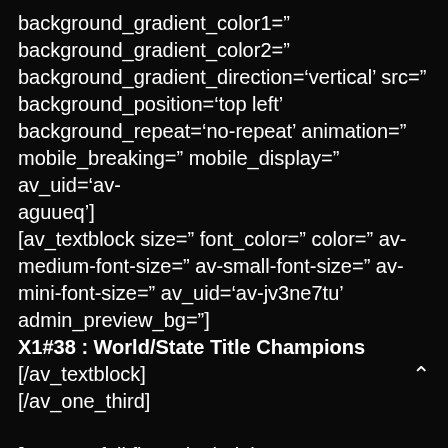background_gradient_color1=" background_gradient_color2=" background_gradient_direction='vertical' src=" background_position='top left' background_repeat='no-repeat' animation=" mobile_breaking=" mobile_display=" av_uid='av-aguueq'] [av_textblock size=" font_color=" color=" av-medium-font-size=" av-small-font-size=" av-mini-font-size=" av_uid='av-jv3ne7tu' admin_preview_bg="] X1#38 : World/State Title Champions [/av_textblock] [/av_one_third]  [av_one_full first min_height=" vertical_alignment=" space=" custom_margin=" margin='0px' row_boxshadow="